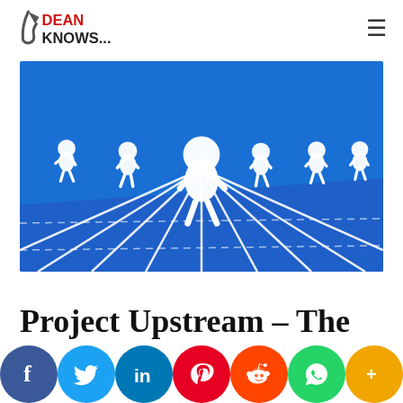Dean Knows...
[Figure (illustration): Six white 3D figurines running on a blue athletic track with white lane lines converging toward center perspective]
Project Upstream – The
[Figure (infographic): Social sharing bar with Facebook, Twitter, LinkedIn, Pinterest, Reddit, WhatsApp, and More (+) buttons]